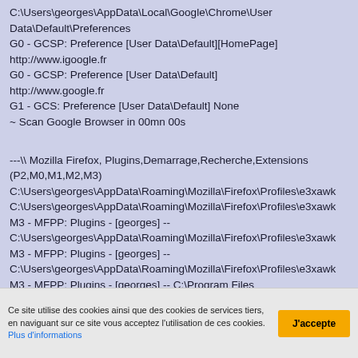C:\Users\georges\AppData\Local\Google\Chrome\User Data\Default\Preferences
G0 - GCSP: Preference [User Data\Default][HomePage]
http://www.igoogle.fr
G0 - GCSP: Preference [User Data\Default]
http://www.google.fr
G1 - GCS: Preference [User Data\Default] None
~ Scan Google Browser in 00mn 00s
---\\ Mozilla Firefox, Plugins,Demarrage,Recherche,Extensions (P2,M0,M1,M2,M3)
C:\Users\georges\AppData\Roaming\Mozilla\Firefox\Profiles\e3xawk
C:\Users\georges\AppData\Roaming\Mozilla\Firefox\Profiles\e3xawk
M3 - MFPP: Plugins - [georges] -- C:\Users\georges\AppData\Roaming\Mozilla\Firefox\Profiles\e3xawk
M3 - MFPP: Plugins - [georges] -- C:\Users\georges\AppData\Roaming\Mozilla\Firefox\Profiles\e3xawk
M3 - MFPP: Plugins - [georges] -- C:\Program Files
Ce site utilise des cookies ainsi que des cookies de services tiers, en naviguant sur ce site vous acceptez l'utilisation de ces cookies. Plus d'informations